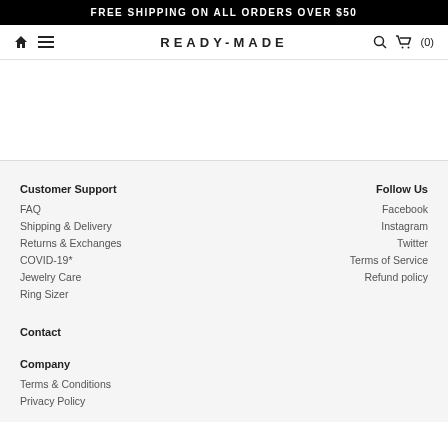FREE SHIPPING ON ALL ORDERS OVER $50
READY-MADE
Customer Support
FAQ
Shipping & Delivery
Returns & Exchanges
COVID-19*
Jewelry Care
Ring Sizer
Contact
Company
Terms & Conditions
Privacy Policy
Follow Us
Facebook
Instagram
Twitter
Terms of Service
Refund policy